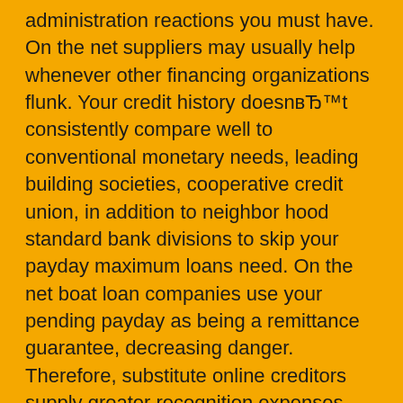administration reactions you must have. On the net suppliers may usually help whenever other financing organizations flunk. Your credit history doesnвЂ™t consistently compare well to conventional monetary needs, leading building societies, cooperative credit union, in addition to neighbor hood standard bank divisions to skip your payday maximum loans need. On the net boat loan companies use your pending payday as being a remittance guarantee, decreasing danger. Therefore, substitute online creditors supply greater recognition expenses, increasing access for imperfect fico scores candidates.
You need a little amount of cashfor a fast timeframe diverse backing options deal withcomprehensive money requirements. Originating from long haul real estate loan